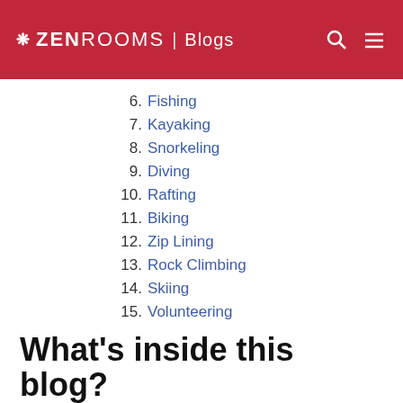ZEN ROOMS | Blogs
6. Fishing
7. Kayaking
8. Snorkeling
9. Diving
10. Rafting
11. Biking
12. Zip Lining
13. Rock Climbing
14. Skiing
15. Volunteering
16. Outdoor Photography
What's inside this blog?